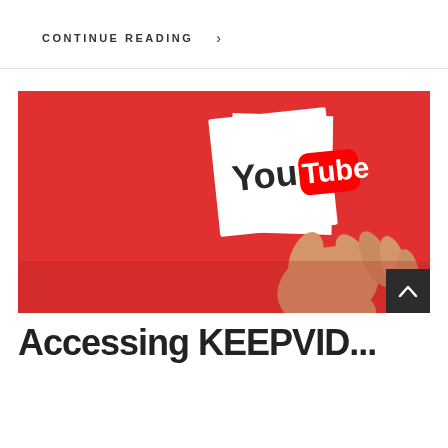CONTINUE READING  >
[Figure (photo): A hand holding a white card with the YouTube logo against a red background. Below the image is a teal banner showing author James Cameron, date August 13 2020, and No Comments.]
Accessing KEEPVID...